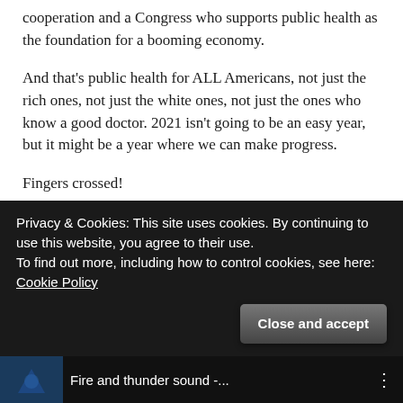cooperation and a Congress who supports public health as the foundation for a booming economy.
And that's public health for ALL Americans, not just the rich ones, not just the white ones, not just the ones who know a good doctor. 2021 isn't going to be an easy year, but it might be a year where we can make progress.
Fingers crossed!
And by the way, after I managed to convince myself Biden/Harris still had a chance, my mind was still racing. I found this video in my YouTube feed, and used it to get to sleep . . . and then to get to sleep again after I woke up in the middle of the night
Privacy & Cookies: This site uses cookies. By continuing to use this website, you agree to their use.
To find out more, including how to control cookies, see here: Cookie Policy
Close and accept
Fire and thunder sound -...